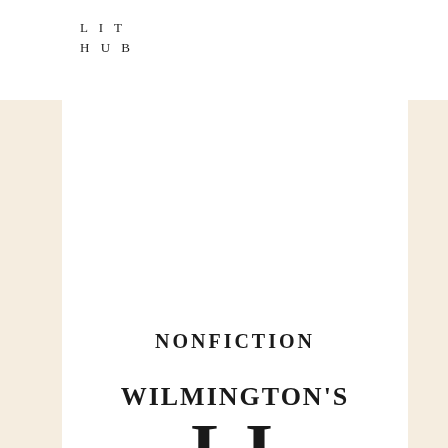LIT HUB
NONFICTION
WILMINGTON'S LIE